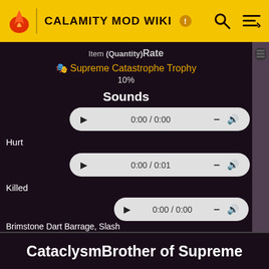CALAMITY MOD WIKI
Item (Quantity)Rate
🎭 Supreme Catastrophe Trophy
10%
Sounds
Hurt
▶ 0:00 / 0:00  —  🔊
Killed
▶ 0:00 / 0:01  —  🔊
Brimstone Dart Barrage, Slash
▶ 0:00 / 0:00  —  🔊
💧 Map Icon
CataclysmBrother of Supreme